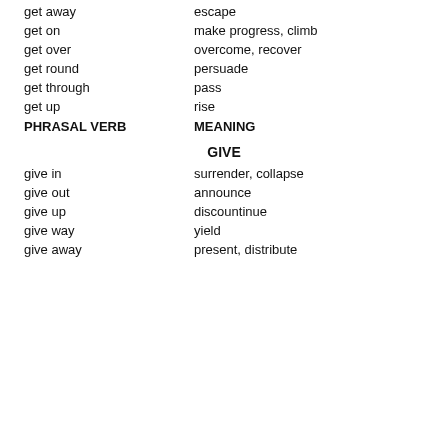get away — escape
get on — make progress, climb
get over — overcome, recover
get round — persuade
get through — pass
get up — rise
PHRASAL VERB   MEANING
GIVE
give in — surrender, collapse
give out — announce
give up — discountinue
give way — yield
give away — present, distribute